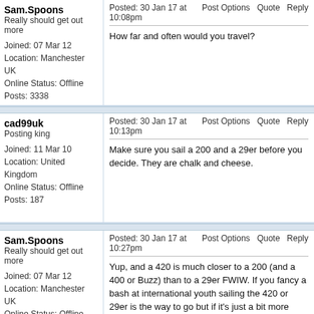Sam.Spoons
Really should get out more

Joined: 07 Mar 12
Location: Manchester UK
Online Status: Offline
Posts: 3338
Posted: 30 Jan 17 at 10:08pm   Post Options   Quote   Reply
How far and often would you travel?
cad99uk
Posting king

Joined: 11 Mar 10
Location: United Kingdom
Online Status: Offline
Posts: 187
Posted: 30 Jan 17 at 10:13pm   Post Options   Quote   Reply
Make sure you sail a 200 and a 29er before you decide. They are chalk and cheese.
Sam.Spoons
Really should get out more

Joined: 07 Mar 12
Location: Manchester UK
Online Status: Offline
Posts: 3338
Posted: 30 Jan 17 at 10:27pm   Post Options   Quote   Reply
Yup, and a 420 is much closer to a 200 (and a 400 or Buzz) than to a 29er FWIW. If you fancy a bash at international youth sailing the 420 or 29er is the way to go but if it's just a bit more class racing in the North of England then do a bit of googling for suitable open meetings and club results to find out where the fleets are. Sadly there is not very much open meeting action 'north